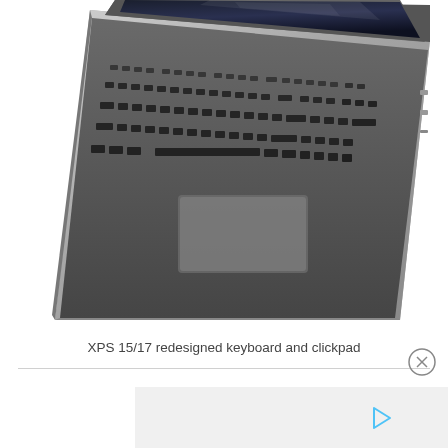[Figure (photo): Dell XPS 15/17 laptop shown from above at an angle, showing the redesigned keyboard and clickpad. The laptop has a thin silver/aluminum body with a black keyboard and dark screen.]
XPS 15/17 redesigned keyboard and clickpad
Both these XPS 15 9500 and XPS 17 9700 models are expected to ship somewhere around May 2020, but haven't yet been officially launched, so we'll keep an eye on them and update the article as we get more details.
[Figure (other): Advertisement bar at the bottom of the page with a play/forward icon]